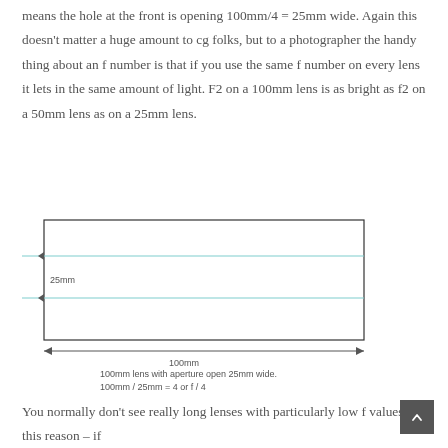means the hole at the front is opening 100mm/4 = 25mm wide. Again this doesn't matter a huge amount to cg folks, but to a photographer the handy thing about an f number is that if you use the same f number on every lens it lets in the same amount of light. F2 on a 100mm lens is as bright as f2 on a 50mm lens as on a 25mm lens.
[Figure (engineering-diagram): Diagram of a rectangle representing a 100mm lens with aperture open 25mm wide. Two horizontal teal/cyan lines span the width inside the rectangle, with arrows on the left side indicating 25mm vertical distance between them. A horizontal line below the rectangle with arrows at each end indicates 100mm width.]
100mm lens with aperture open 25mm wide. 100mm / 25mm = 4 or f / 4
You normally don't see really long lenses with particularly low f values for this reason – if